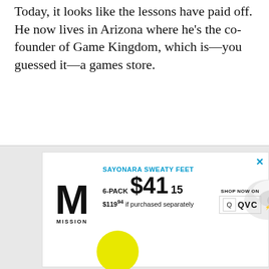Today, it looks like the lessons have paid off. He now lives in Arizona where he's the co-founder of Game Kingdom, which is—you guessed it—a games store.
[Figure (other): Advertisement banner for MISSION socks. Shows MISSION logo (large M), text 'SAYONARA SWEATY FEET', '6-PACK $41.15', '$119.94 if purchased separately', image of white athletic socks, and QVC shop now logo.]